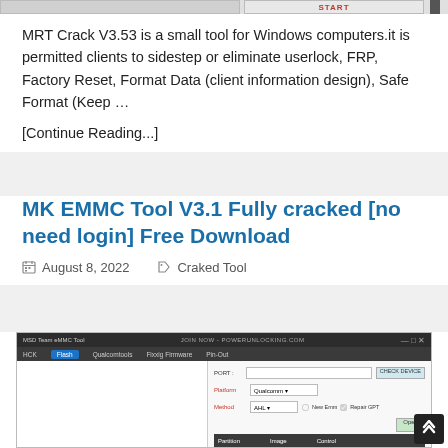[Figure (screenshot): Top portion of a webpage showing a tool interface with START button, partially cropped at top]
MRT Crack V3.53 is a small tool for Windows computers.it is permitted clients to sidestep or eliminate userlock, FRP, Factory Reset, Format Data (client information design), Safe Format (Keep …
[Continue Reading...]
MK EMMC Tool V3.1 Fully cracked [no need login] Free Download
August 8, 2022    Craked Tool
[Figure (screenshot): Screenshot of MK EMMC Tool software interface showing MSD Team eMMC Tool with Flash tab selected, PORT field, Platform (Qualcomm), Method (AHL), checkboxes for New Emm and Repair GPT, and Open button, with partition table at bottom]